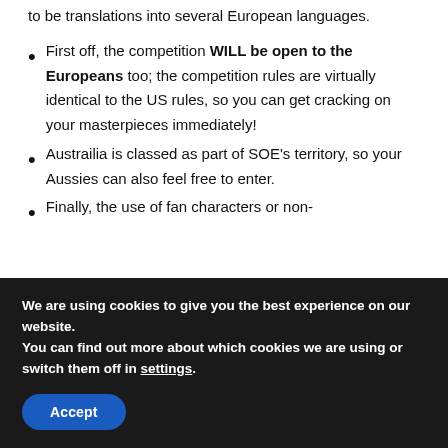to be translations into several European languages.
First off, the competition WILL be open to the Europeans too; the competition rules are virtually identical to the US rules, so you can get cracking on your masterpieces immediately!
Austrailia is classed as part of SOE's territory, so your Aussies can also feel free to enter.
Finally, the use of fan characters or non-
We are using cookies to give you the best experience on our website.
You can find out more about which cookies we are using or switch them off in settings.
Accept